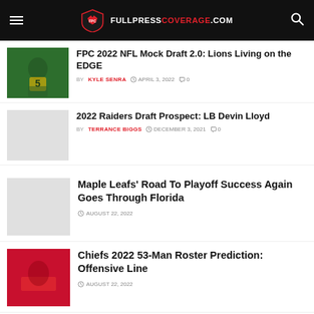FULLPRESSCOVERAGE.COM
FPC 2022 NFL Mock Draft 2.0: Lions Living on the EDGE
BY KYLE SENRA  APRIL 3, 2022  0
2022 Raiders Draft Prospect: LB Devin Lloyd
BY TERRANCE BIGGS  DECEMBER 3, 2021  0
Maple Leafs' Road To Playoff Success Again Goes Through Florida
AUGUST 22, 2022
Chiefs 2022 53-Man Roster Prediction: Offensive Line
AUGUST 22, 2022
Chicago Bears: Smith Returns To Practice, Bets On